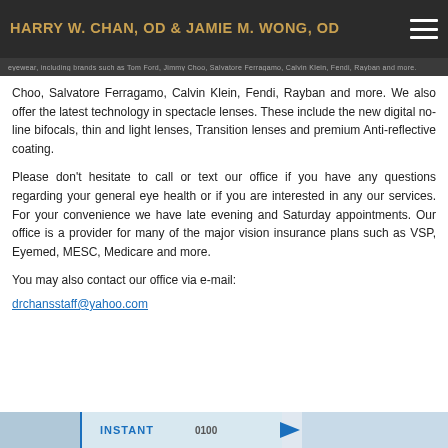HARRY W. CHAN, OD & JAMIE M. WONG, OD
Choo, Salvatore Ferragamo, Calvin Klein, Fendi, Rayban and more. We also offer the latest technology in spectacle lenses. These include the new digital no-line bifocals, thin and light lenses, Transition lenses and premium Anti-reflective coating.
Please don't hesitate to call or text our office if you have any questions regarding your general eye health or if you are interested in any our services. For your convenience we have late evening and Saturday appointments. Our office is a provider for many of the major vision insurance plans such as VSP, Eyemed, MESC, Medicare and more.
You may also contact our office via e-mail:
drchansstaff@yahoo.com
[Figure (photo): Partial bottom image with text INSTANT and an arrow, appears to be a promotional banner]